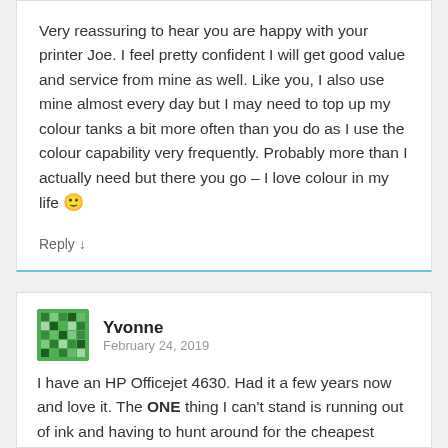Very reassuring to hear you are happy with your printer Joe. I feel pretty confident I will get good value and service from mine as well. Like you, I also use mine almost every day but I may need to top up my colour tanks a bit more often than you do as I use the colour capability very frequently. Probably more than I actually need but there you go – I love colour in my life 🙂
Reply ↓
Yvonne
February 24, 2019
I have an HP Officejet 4630. Had it a few years now and love it. The ONE thing I can't stand is running out of ink and having to hunt around for the cheapest price on cartridges at a time when I am not in the mood. I signed up for their Smart Ink program and though I pay monthly, I don't care! It works for me. The cartridges I receive are larger capacity ones than